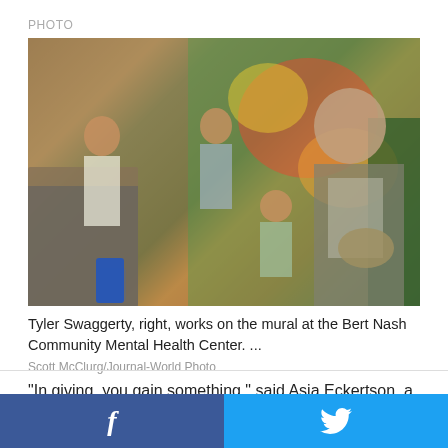PHOTO
[Figure (photo): Students working on a mural at the Bert Nash Community Mental Health Center. A young man in a t-shirt and apron holding a paint palette is in the foreground on the right. Other students and instructors are visible in the background working on the colorful mural.]
Tyler Swaggerty, right, works on the mural at the Bert Nash Community Mental Health Center. ...
Scott McClurg/Journal-World Photo
"In giving, you gain something," said Asja Eckertson, a 16-year-old student at Lawrence Alternative High School. "It's